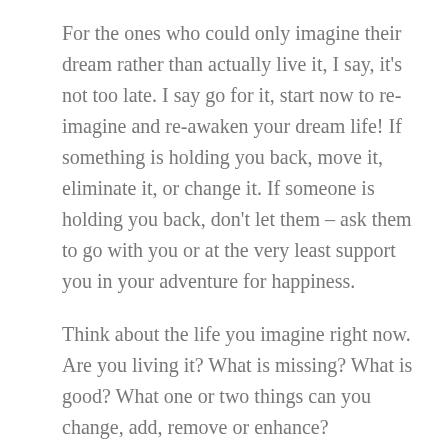For the ones who could only imagine their dream rather than actually live it, I say, it's not too late. I say go for it, start now to re-imagine and re-awaken your dream life! If something is holding you back, move it, eliminate it, or change it. If someone is holding you back, don't let them – ask them to go with you or at the very least support you in your adventure for happiness.
Think about the life you imagine right now. Are you living it? What is missing? What is good? What one or two things can you change, add, remove or enhance?
What does living your dream mean for you? What does it mean for you not to live it? What is it costing you to abandon your dreams and keep doing what you're doing today?
If your friend, your partner, your kids came to you for…